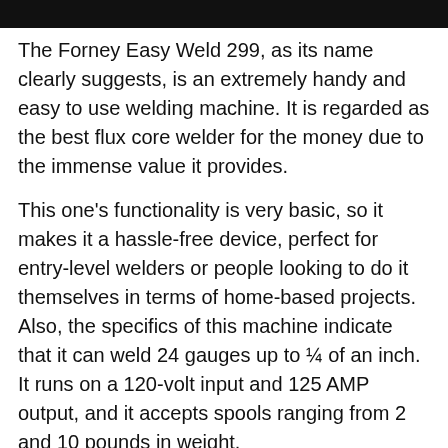[Figure (photo): Partial image of the Forney Easy Weld 299 welding machine, cropped at the top of the page.]
The Forney Easy Weld 299, as its name clearly suggests, is an extremely handy and easy to use welding machine. It is regarded as the best flux core welder for the money due to the immense value it provides.
This one's functionality is very basic, so it makes it a hassle-free device, perfect for entry-level welders or people looking to do it themselves in terms of home-based projects.
Also, the specifics of this machine indicate that it can weld 24 gauges up to ¼ of an inch. It runs on a 120-volt input and 125 AMP output, and it accepts spools ranging from 2 and 10 pounds in weight.